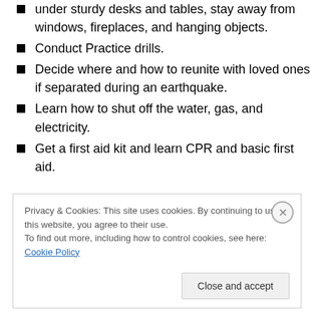identify safe and dangerous spots in each room. Get under sturdy desks and tables, stay away from windows, fireplaces, and hanging objects.
Conduct Practice drills.
Decide where and how to reunite with loved ones if separated during an earthquake.
Learn how to shut off the water, gas, and electricity.
Get a first aid kit and learn CPR and basic first aid.
During the Earthquake
Privacy & Cookies: This site uses cookies. By continuing to use this website, you agree to their use.
To find out more, including how to control cookies, see here: Cookie Policy